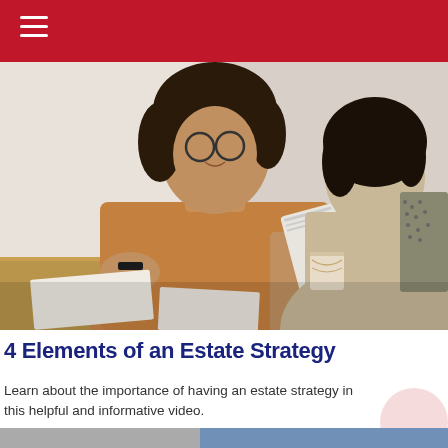[Figure (photo): Two people sitting at a table in a meeting. A Black woman with curly hair and glasses wearing a tan/brown ribbed sweater is speaking and gesturing with her hands, holding a tablet or documents. Another person with dark hair wearing a beige top is seen from behind. A coffee mug is on the table.]
4 Elements of an Estate Strategy
Learn about the importance of having an estate strategy in this helpful and informative video.
[Figure (photo): Partial view of another image at the bottom of the page, showing what appears to be an interior space.]